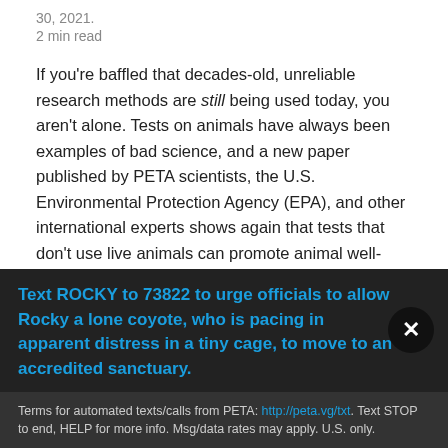30, 2021.
2 min read
If you're baffled that decades-old, unreliable research methods are still being used today, you aren't alone. Tests on animals have always been examples of bad science, and a new paper published by PETA scientists, the U.S. Environmental Protection Agency (EPA), and other international experts shows again that tests that don't use live animals can promote animal well-being and human health.
Tests on live rabbits cause suffering.
PETA scientists and their co-authors examined the D...
Text ROCKY to 73822 to urge officials to allow Rocky a lone coyote, who is pacing in apparent distress in a tiny cage, to move to an accredited sanctuary.
Terms for automated texts/calls from PETA: http://peta.vg/txt. Text STOP to end, HELP for more info. Msg/data rates may apply. U.S. only.